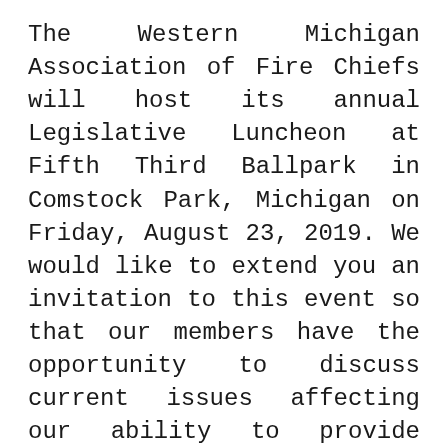The Western Michigan Association of Fire Chiefs will host its annual Legislative Luncheon at Fifth Third Ballpark in Comstock Park, Michigan on Friday, August 23, 2019. We would like to extend you an invitation to this event so that our members have the opportunity to discuss current issues affecting our ability to provide services to Michigan's residents. Lunch will be served at noon with an informal panel discussion to follow beginning at 12:45. We sincerely hope that you will take the opportunity to attend this event. We are very interested in hearing your views on the issues affecting Michigan and the direction our state is heading.